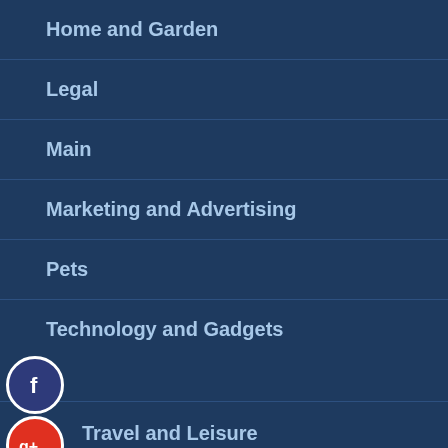Home and Garden
Legal
Main
Marketing and Advertising
Pets
Technology and Gadgets
Travel and Leisure
RECENT POSTS
The Top Dog Boarding Options In Chapel Hill
How Does Vaping Work?